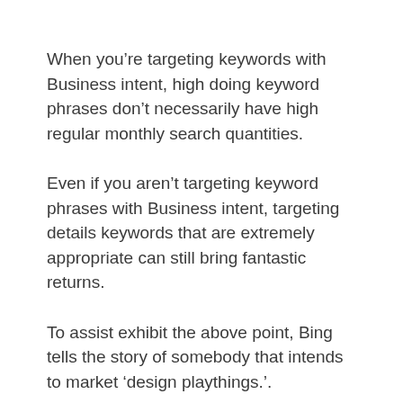When you’re targeting keywords with Business intent, high doing keyword phrases don’t necessarily have high regular monthly search quantities.
Even if you aren’t targeting keyword phrases with Business intent, targeting details keywords that are extremely appropriate can still bring fantastic returns.
To assist exhibit the above point, Bing tells the story of somebody that intends to market ‘design playthings.’.